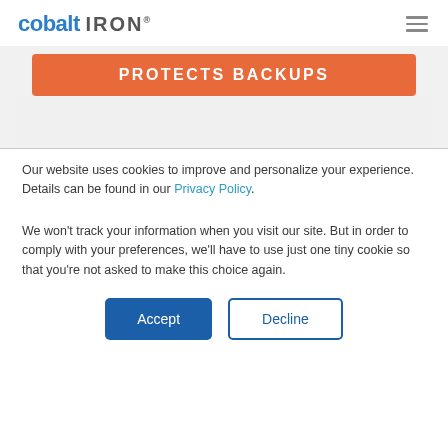cobalt IRON
[Figure (logo): Cobalt Iron logo with blue 'cobalt' and gray 'IRON' text, hamburger menu icon top right]
PROTECTS BACKUPS
Our website uses cookies to improve and personalize your experience. Details can be found in our Privacy Policy.
We won't track your information when you visit our site. But in order to comply with your preferences, we'll have to use just one tiny cookie so that you're not asked to make this choice again.
Accept | Decline